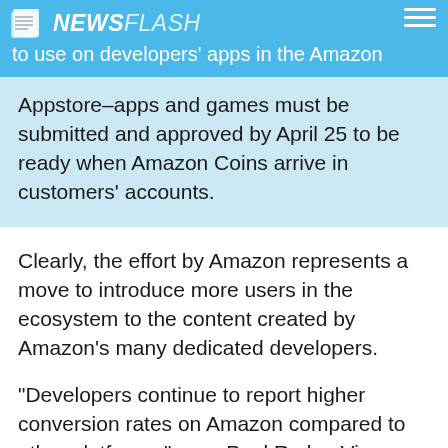NEWS FLASH
to use on developers' apps in the Amazon Appstore–apps and games must be submitted and approved by April 25 to be ready when Amazon Coins arrive in customers' accounts.
Clearly, the effort by Amazon represents a move to introduce more users in the ecosystem to the content created by Amazon's many dedicated developers.
“Developers continue to report higher conversion rates on Amazon compared to other platforms,” says Paul Ryder, Vice President of